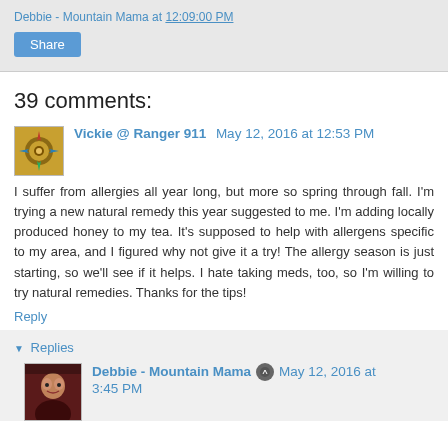Debbie - Mountain Mama at 12:09:00 PM
Share
39 comments:
Vickie @ Ranger 911  May 12, 2016 at 12:53 PM
I suffer from allergies all year long, but more so spring through fall. I'm trying a new natural remedy this year suggested to me. I'm adding locally produced honey to my tea. It's supposed to help with allergens specific to my area, and I figured why not give it a try! The allergy season is just starting, so we'll see if it helps. I hate taking meds, too, so I'm willing to try natural remedies. Thanks for the tips!
Reply
Replies
Debbie - Mountain Mama  May 12, 2016 at 3:45 PM